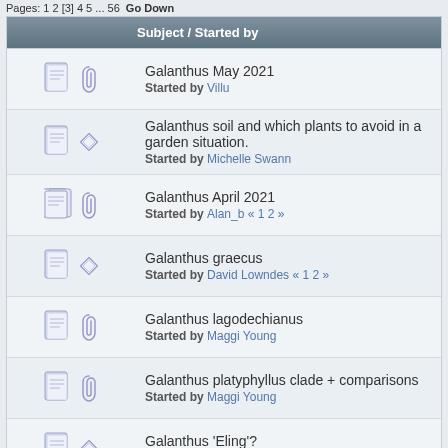Pages: 1 2 [3] 4 5 ... 56  Go Down
| Subject / Started by |
| --- |
| Galanthus May 2021 | Started by Villu |
| Galanthus soil and which plants to avoid in a garden situation. | Started by Michelle Swann |
| Galanthus April 2021 | Started by Alan_b « 1 2 » |
| Galanthus graecus | Started by David Lowndes « 1 2 » |
| Galanthus lagodechianus | Started by Maggi Young |
| Galanthus platyphyllus clade + comparisons | Started by Maggi Young |
| Galanthus 'Eling'? | Started by Alan_b |
| Stagonospora infection - collected threads | Started by mark smyth « 1 2 3 ... 54 » |